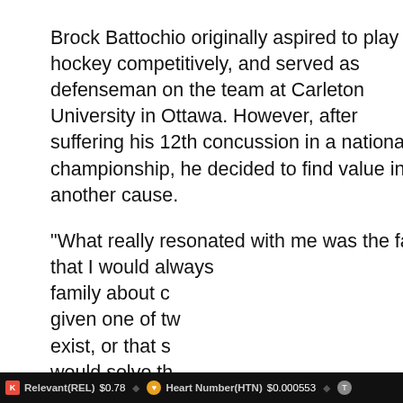Brock Battochio originally aspired to play ice hockey competitively, and served as defenseman on the team at Carleton University in Ottawa. However, after suffering his 12th concussion in a national championship, he decided to find value in another cause.
“What really resonated with me was the fact that I would always family about c given one of tw exist, or that s would solve th
Respecting your privacy is our priority
We use cookies on uomoelegante.it to give you an optimal experience. Happy surfing.
a user from Kazakhstan has viewed Green news on Uomoelegante
9 hours ago
Relevant(REL) $0.78   Heart Number(HTN) $0.000553